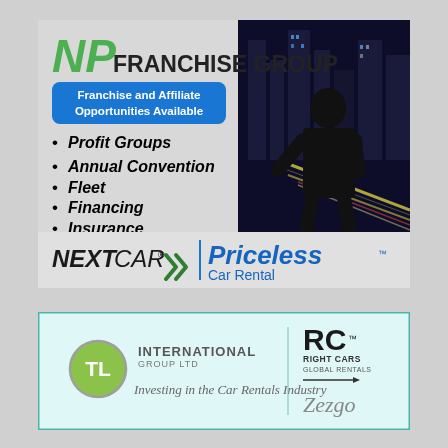[Figure (illustration): NP Franchise Group advertisement featuring logo, 'Franchise and Affiliate Opportunities Available' badge, bullet points listing Profit Groups, Annual Convention, Fleet, Financing, Insurance, a silhouette of a businessman against city night skyline, and bottom bar with NextCar and Priceless Car Rental logos]
[Figure (illustration): TL International Group Ltd advertisement with green circle TL logo, tagline 'Investing in the Car Rentals Industry', RC Right Cars Global Rentals logo, and Zezgo logo on light blue background]